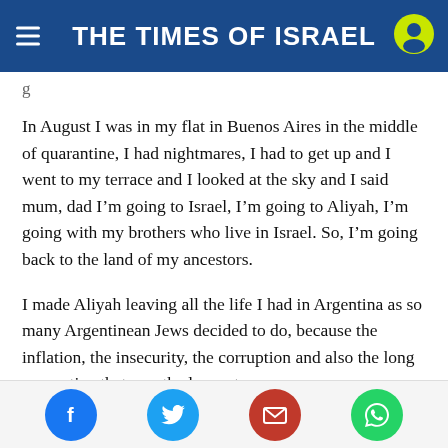THE TIMES OF ISRAEL
g
In August I was in my flat in Buenos Aires in the middle of quarantine, I had nightmares, I had to get up and I went to my terrace and I looked at the sky and I said mum, dad I'm going to Israel, I'm going to Aliyah, I'm going with my brothers who live in Israel. So, I'm going back to the land of my ancestors.
I made Aliyah leaving all the life I had in Argentina as so many Argentinean Jews decided to do, because the inflation, the insecurity, the corruption and also the long quarantine that was the longest
Social share icons: Facebook, Twitter, Email, WhatsApp